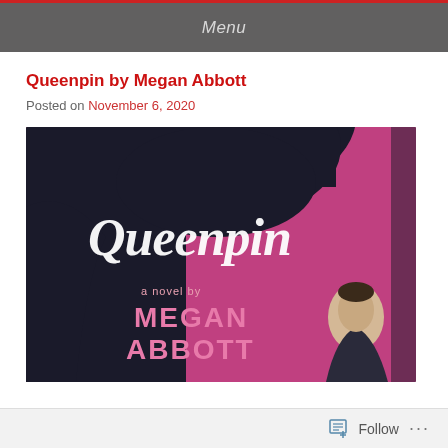Menu
Queenpin by Megan Abbott
Posted on November 6, 2020
[Figure (photo): Book cover of Queenpin by Megan Abbott. Pink and black background with a silhouette of a woman with a large black bouffant hairstyle. Title 'Queenpin' in large white brush script letters. Below: 'a novel by MEGAN ABBOTT' in pink block letters. A man in a suit is visible on the right side looking over his shoulder.]
Follow